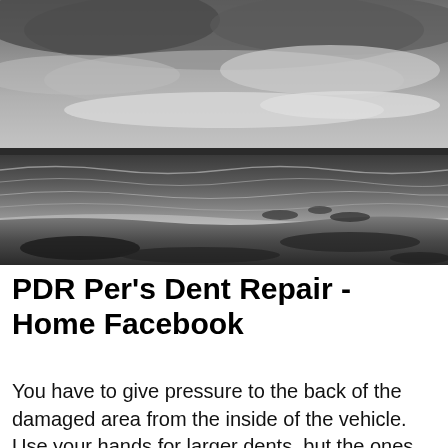[Figure (photo): Black and white photograph of a beach scene with dramatic cloudy sky, calm sea water with gentle waves, and a sandy/pebbly shoreline in the foreground.]
PDR Per's Dent Repair - Home Facebook
You have to give pressure to the back of the damaged area from the inside of the vehicle. Use your hands for larger dents, but the ones with